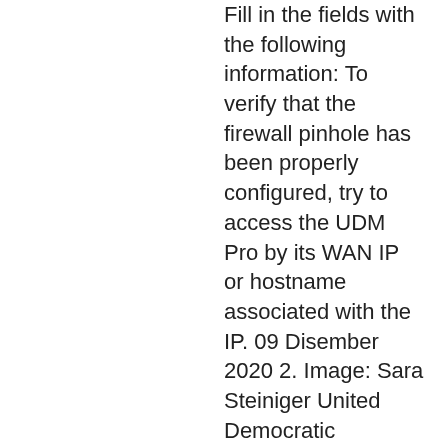Fill in the fields with the following information: To verify that the firewall pinhole has been properly configured, try to access the UDM Pro by its WAN IP or hostname associated with the IP. 09 Disember 2020 2. Image: Sara Steiniger United Democratic Movement (UDM) leader Bantu Holomisa says he has 14 days to dec udm VPN setup listed impressive Results in Studies Taking into account different independent Experience, can inevitably see, that a